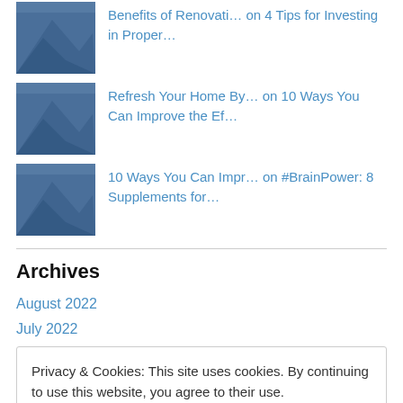Benefits of Renovati… on 4 Tips for Investing in Proper…
Refresh Your Home By… on 10 Ways You Can Improve the Ef…
10 Ways You Can Impr… on #BrainPower: 8 Supplements for…
Archives
August 2022
July 2022
Privacy & Cookies: This site uses cookies. By continuing to use this website, you agree to their use.
To find out more, including how to control cookies, see here: Cookie Policy
Close and accept
December 2021